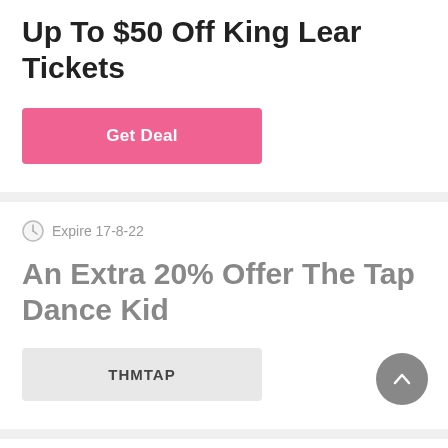Up To $50 Off King Lear Tickets
Get Deal
Expire 17-8-22
An Extra 20% Offer The Tap Dance Kid
THMTAP
Expire 19-8-22